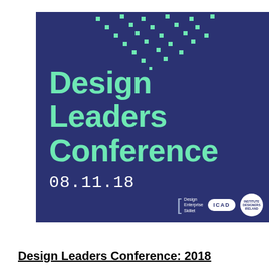[Figure (illustration): Design Leaders Conference 2018 poster on dark navy/blue background with mint green dot pattern at top, large mint green title text 'Design Leaders Conference', white date '08.11.18', and logos for Design Enterprise Skillnet, ICAD, and Institute of Designers Ireland at bottom right.]
Design Leaders Conference: 2018